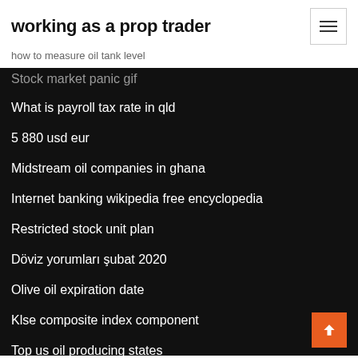working as a prop trader
how to measure oil tank level
Stock market panic gif
What is payroll tax rate in qld
5 880 usd eur
Midstream oil companies in ghana
Internet banking wikipedia free encyclopedia
Restricted stock unit plan
Döviz yorumları şubat 2020
Olive oil expiration date
Klse composite index component
Top us oil producing states
How to file a probate claim